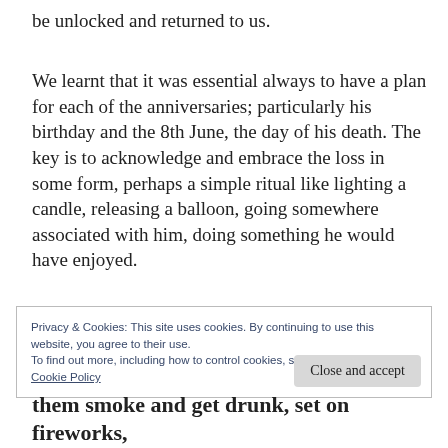be unlocked and returned to us.
We learnt that it was essential always to have a plan for each of the anniversaries; particularly his birthday and the 8th June, the day of his death. The key is to acknowledge and embrace the loss in some form, perhaps a simple ritual like lighting a candle, releasing a balloon, going somewhere associated with him, doing something he would have enjoyed.
Privacy & Cookies: This site uses cookies. By continuing to use this website, you agree to their use.
To find out more, including how to control cookies, see here:
Cookie Policy
Close and accept
them smoke and get drunk, set on fireworks,